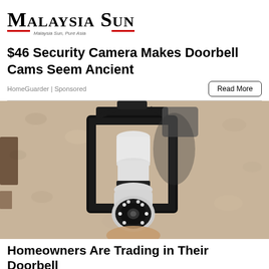[Figure (logo): Malaysia Sun logo with tagline 'Malaysia Sun, Pure Asia' flanked by red lines]
$46 Security Camera Makes Doorbell Cams Seem Ancient
HomeGuarder | Sponsored
[Figure (photo): A security camera device resembling a light bulb installed in a black outdoor wall lantern fixture on a textured beige stucco wall]
Homeowners Are Trading in Their Doorbell